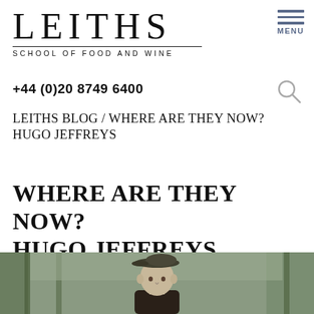LEITHS
SCHOOL OF FOOD AND WINE
MENU
+44 (0)20 8749 6400
LEITHS BLOG / WHERE ARE THEY NOW? HUGO JEFFREYS
WHERE ARE THEY NOW? HUGO JEFFREYS
11 DEC 2015 / CATEGORIES ALUMNI, #MADEATLEITHS / AUTHOR: ELIZA WELSFORD
[Figure (photo): Photo of Hugo Jeffreys wearing a flat cap, shown from the chest up with a fence/gate in the background]